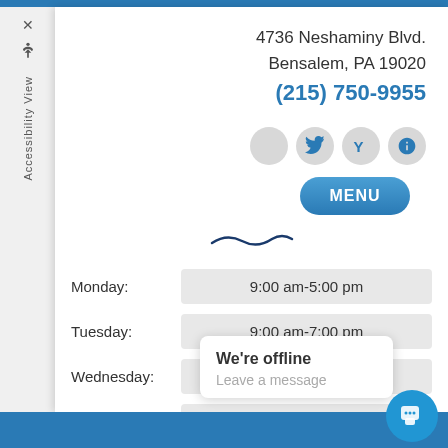4736 Neshaminy Blvd.
Bensalem, PA 19020
(215) 750-9955
[Figure (logo): Restaurant or business logo — a stylized wave/swirl in dark blue]
| Day | Hours |
| --- | --- |
| Monday: | 9:00 am-5:00 pm |
| Tuesday: | 9:00 am-7:00 pm |
| Wednesday: | 1:00 pm-7:00 pm |
| Thursday: | 9:00 am-3:00 pm |
| Friday: | 9:00 am-3:00 pm (partial, obscured) |
We're offline
Leave a message